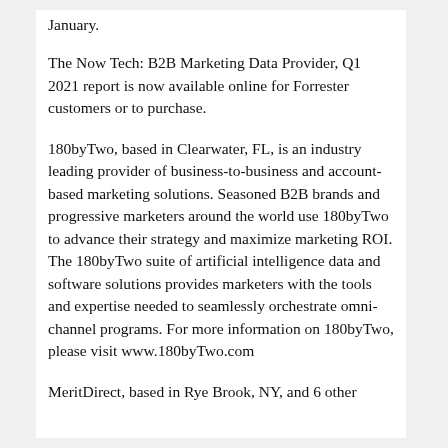January.
The Now Tech: B2B Marketing Data Provider, Q1 2021 report is now available online for Forrester customers or to purchase.
180byTwo, based in Clearwater, FL, is an industry leading provider of business-to-business and account-based marketing solutions. Seasoned B2B brands and progressive marketers around the world use 180byTwo to advance their strategy and maximize marketing ROI. The 180byTwo suite of artificial intelligence data and software solutions provides marketers with the tools and expertise needed to seamlessly orchestrate omni-channel programs. For more information on 180byTwo, please visit www.180byTwo.com
MeritDirect, based in Rye Brook, NY, and 6 other